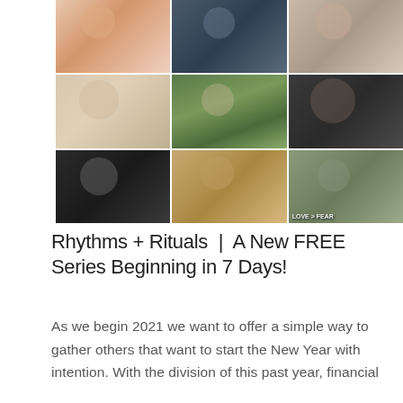[Figure (photo): 3x3 grid of portrait photos showing various people: row 1 has a person in floral clothing, a person in a dark puffer jacket outdoors, and a woman with long dark hair; row 2 has a blonde woman smiling, a woman gardening with a wheelbarrow, and a couple (man and woman) in casual wear; row 3 has a gray-haired man with glasses, a person in a wide-brimmed hat, and a person wearing a cap with 'LOVE > FEAR' text.]
Rhythms + Rituals  |  A New FREE Series Beginning in 7 Days!
As we begin 2021 we want to offer a simple way to gather others that want to start the New Year with intention. With the division of this past year, financial